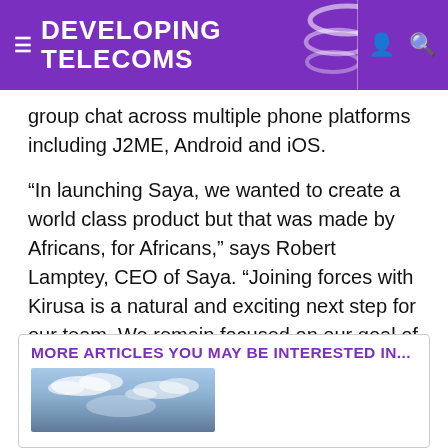DEVELOPING TELECOMS
group chat across multiple phone platforms including J2ME, Android and iOS.
“In launching Saya, we wanted to create a world class product but that was made by Africans, for Africans,” says Robert Lamptey, CEO of Saya. “Joining forces with Kirusa is a natural and exciting next step for our team. We remain focused on our goal of placing this technology into the hands of and empowering millions of mobile subscribers.”
MORE ARTICLES YOU MAY BE INTERESTED IN...
[Figure (photo): A sky with clouds, partially blue sky visible, photo appearing at the bottom of the page in the 'More Articles' section.]